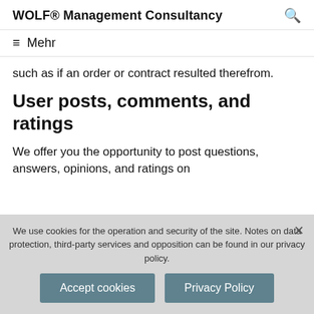WOLF® Management Consultancy
≡ Mehr
such as if an order or contract resulted therefrom.
User posts, comments, and ratings
We offer you the opportunity to post questions, answers, opinions, and ratings on
We use cookies for the operation and security of the site. Notes on data protection, third-party services and opposition can be found in our privacy policy.